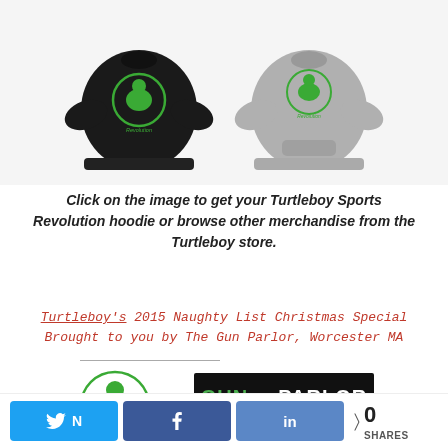[Figure (photo): Two hoodies with Turtleboy Sports Revolution logo — one black, one grey — shown side by side on white/light background]
Click on the image to get your Turtleboy Sports Revolution hoodie or browse other merchandise from the Turtleboy store.
Turtleboy's 2015 Naughty List Christmas Special Brought to you by The Gun Parlor, Worcester MA
[Figure (logo): Turtleboy Sports logo — cartoon turtle mascot with green outline]
[Figure (logo): The Gun Parlor Worcester MA advertisement banner with green text on dark background, www.THEGUNPARLOR.com]
Click the image to get your loved one the 2015
0 SHARES